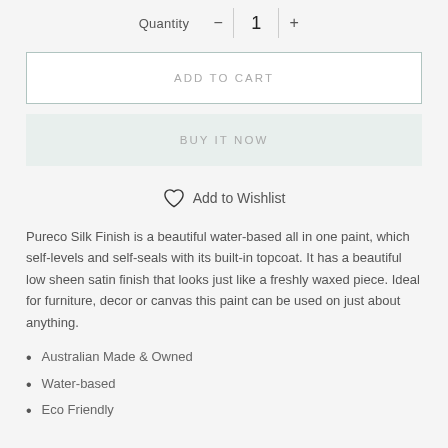Quantity — 1 +
ADD TO CART
BUY IT NOW
♡ Add to Wishlist
Pureco Silk Finish is a beautiful water-based all in one paint, which self-levels and self-seals with its built-in topcoat. It has a beautiful low sheen satin finish that looks just like a freshly waxed piece. Ideal for furniture, decor or canvas this paint can be used on just about anything.
Australian Made & Owned
Water-based
Eco Friendly